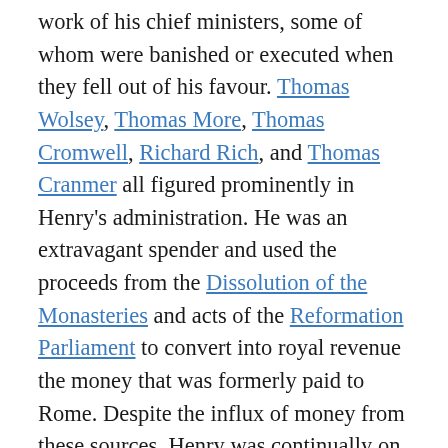work of his chief ministers, some of whom were banished or executed when they fell out of his favour. Thomas Wolsey, Thomas More, Thomas Cromwell, Richard Rich, and Thomas Cranmer all figured prominently in Henry's administration. He was an extravagant spender and used the proceeds from the Dissolution of the Monasteries and acts of the Reformation Parliament to convert into royal revenue the money that was formerly paid to Rome. Despite the influx of money from these sources, Henry was continually on the verge of financial ruin due to his personal extravagance as well as his numerous costly and largely unsuccessful continental wars, particularly with Francis I of France and the Holy Roman Emperor Charles V. Henry also reformed ...